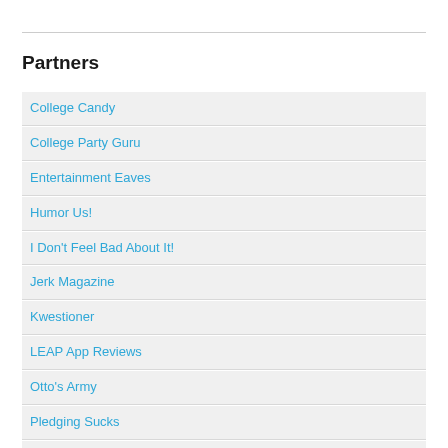Partners
College Candy
College Party Guru
Entertainment Eaves
Humor Us!
I Don't Feel Bad About It!
Jerk Magazine
Kwestioner
LEAP App Reviews
Otto's Army
Pledging Sucks
Saint Bros
Schools Online
Shut Your Fat Mouth
Sorry for Partying
The Jill Board